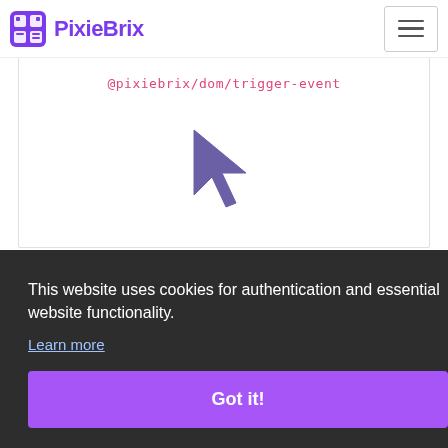PixieBrix
@pixiebrix/dom/trigger-event
[Figure (illustration): Purple mouse cursor icon]
This website uses cookies for authentication and essential website functionality.
Learn more
Got it!